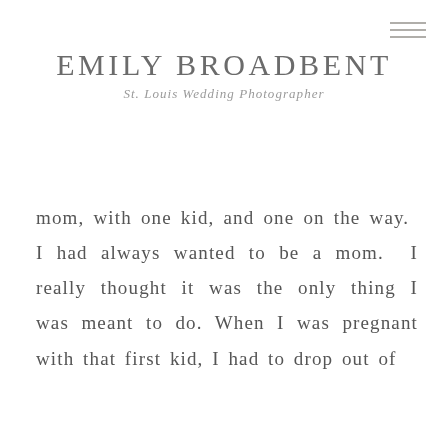EMILY BROADBENT
St. Louis Wedding Photographer
mom, with one kid, and one on the way.  I had always wanted to be a mom.  I really thought it was the only thing I was meant to do.  When I was pregnant with that first kid, I had to drop out of